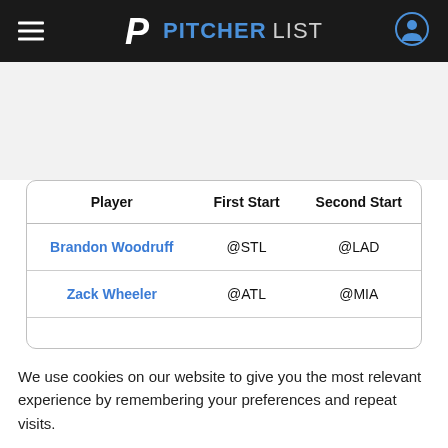PITCHERLIST
| Player | First Start | Second Start |
| --- | --- | --- |
| Brandon Woodruff | @STL | @LAD |
| Zack Wheeler | @ATL | @MIA |
We use cookies on our website to give you the most relevant experience by remembering your preferences and repeat visits.
Reject All   Accept All